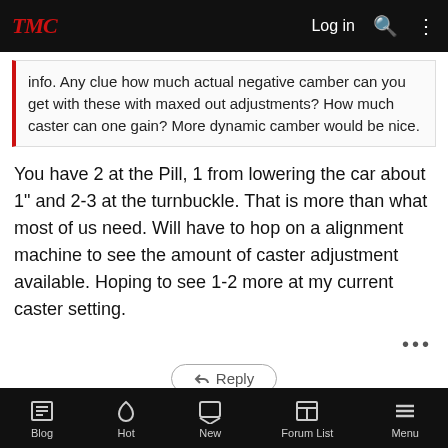TMC | Log in
info. Any clue how much actual negative camber can you get with these with maxed out adjustments? How much caster can one gain? More dynamic camber would be nice.
You have 2 at the Pill, 1 from lowering the car about 1" and 2-3 at the turnbuckle. That is more than what most of us need. Will have to hop on a alignment machine to see the amount of caster adjustment available. Hoping to see 1-2 more at my current caster setting.
Reply
dsgerbc
Member
#4
Mar 18, 2022
Blog | Hot | New | Forum List | Menu